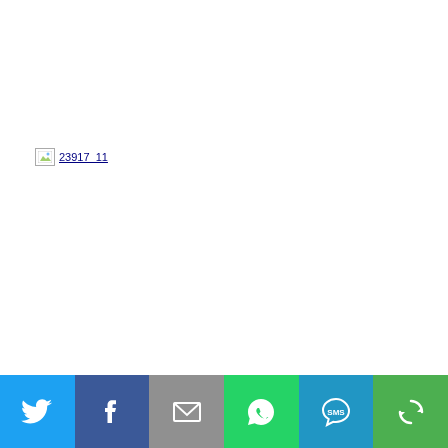[Figure (other): Broken image placeholder labeled '23917_11' shown as a small broken image icon with blue underlined text]
[Figure (infographic): Social media share bar with six buttons: Twitter (light blue), Facebook (dark blue), Email (gray), WhatsApp (green), SMS (blue), and a share/refresh icon (green)]